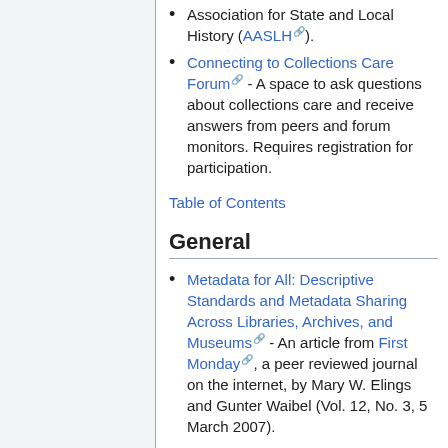Association for State and Local History (AASLH).
Connecting to Collections Care Forum - A space to ask questions about collections care and receive answers from peers and forum monitors. Requires registration for participation.
Table of Contents
General
Metadata for All: Descriptive Standards and Metadata Sharing Across Libraries, Archives, and Museums - An article from First Monday, a peer reviewed journal on the internet, by Mary W. Elings and Gunter Waibel (Vol. 12, No. 3, 5 March 2007).
Metadata for Digital Collections: A